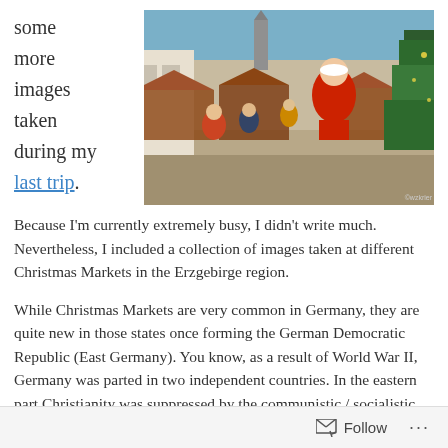some more images taken during my last trip.
[Figure (photo): A Christmas market scene with stalls, a large Santa Claus figure, a decorated Christmas tree, and people walking around in a European town square.]
Because I'm currently extremely busy, I didn't write much. Nevertheless, I included a collection of images taken at different Christmas Markets in the Erzgebirge region.
While Christmas Markets are very common in Germany, they are quite new in those states once forming the German Democratic Republic (East Germany). You know, as a result of World War II, Germany was parted in two independent countries. In the eastern part Christianity was suppressed by the communistic / socialistic dictatorship. But, after the
Follow ...